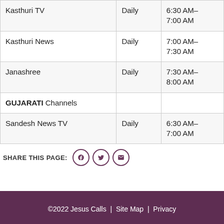| Channel | Frequency | Time |
| --- | --- | --- |
| Kasthuri TV | Daily | 6:30 AM–7:00 AM |
| Kasthuri News | Daily | 7:00 AM–7:30 AM |
| Janashree | Daily | 7:30 AM–8:00 AM |
| GUJARATI Channels |  |  |
| Sandesh News TV | Daily | 6:30 AM–7:00 AM |
SHARE THIS PAGE:
©2022 Jesus Calls  |  Site Map  |  Privacy